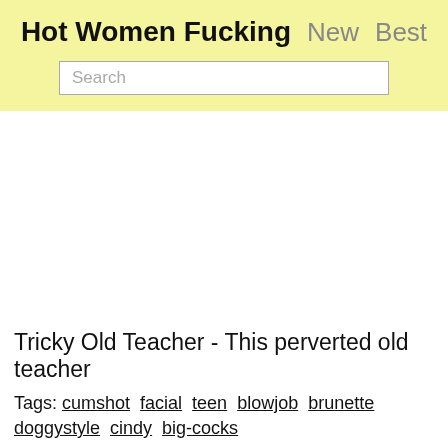Hot Women Fucking  New  Best
[Figure (screenshot): Search input box with placeholder text 'Search' on yellow background header]
[Figure (photo): Main content area - blank/empty video embed area]
Tricky Old Teacher - This perverted old teacher
Tags: cumshot  facial  teen  blowjob  brunette
doggystyle  cindy  big-cocks